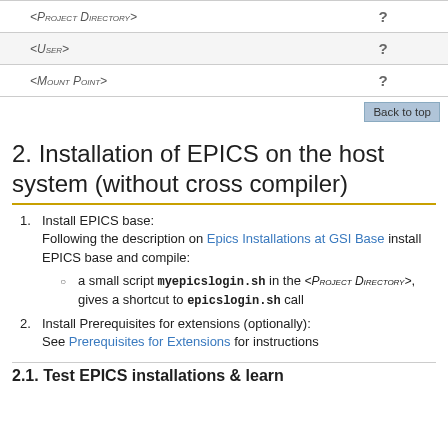|  |  |
| --- | --- |
| <Project Directory> | ? |
| <User> | ? |
| <Mount Point> | ? |
2. Installation of EPICS on the host system (without cross compiler)
Install EPICS base: Following the description on Epics Installations at GSI Base install EPICS base and compile: a small script myepicslogin.sh in the <Project Directory>, gives a shortcut to epicslogin.sh call
Install Prerequisites for extensions (optionally): See Prerequisites for Extensions for instructions
2.1. Test EPICS installations & learn